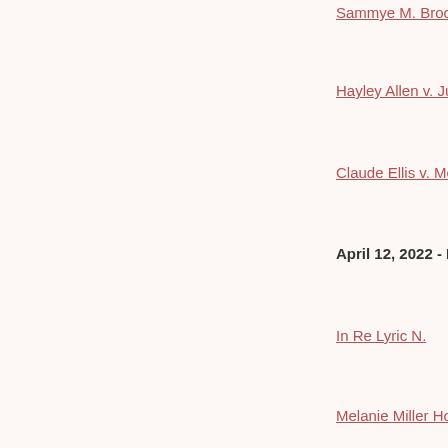Sammye M. Brock Et Al. v. Benja…
Hayley Allen v. Justin Allen
Claude Ellis v. Melissa Ellis
April 12, 2022 - Eastern Sectio…
In Re Lyric N.
Melanie Miller Hollis v. Charles M…
Jeffrey Polhamus v. State of Ten…
Terry Case v. Wilmington Trust, N…
April 5, 2022 - Middle Section
David Lynch, Sr. et al. v Bradley …
Mark Clayton v. Joseph Dixon et …
Laurel Martin Griffin v. Kevin Mic…
Estate of Jennifer Diane Vickers …
March 31, 2022 - Middle Sectio…